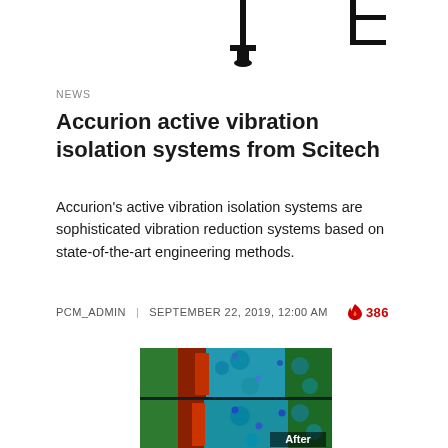[Figure (photo): Top portion of page showing silhouettes of two scientific instruments (vibration isolation systems) on white background, partially cropped]
NEWS
Accurion active vibration isolation systems from Scitech
Accurion’s active vibration isolation systems are sophisticated vibration reduction systems based on state-of-the-art engineering methods.
PCM_ADMIN | SEPTEMBER 22, 2019, 12:00 AM 🔥 386
[Figure (photo): Fluorescence microscopy image showing biological tissue with red, green, and blue staining. Lower portion labeled 'After' showing improved image quality after vibration isolation.]